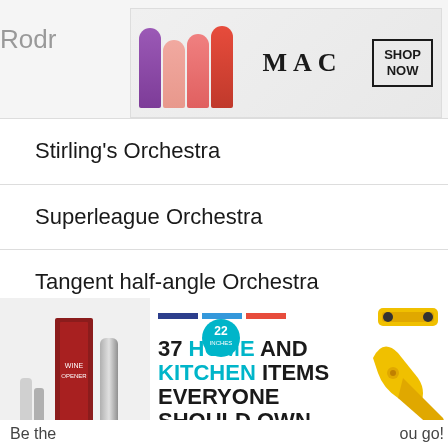[Figure (other): MAC Cosmetics advertisement banner showing colorful lipsticks and SHOP NOW button]
Stirling's Orchestra
Superleague Orchestra
Tangent half-angle Orchestra
Whittaker-Shannon interpolation Orchestra
[Figure (other): Advertisement for '37 Home and Kitchen Items Everyone Should Own' showing kitchen products and tools]